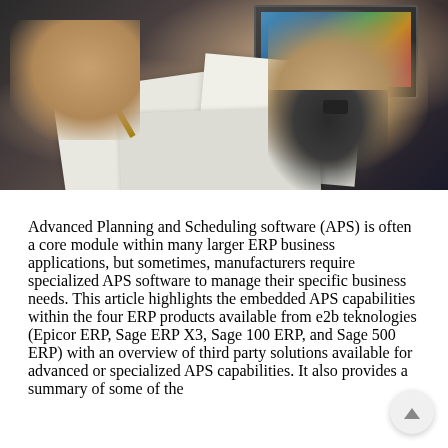[Figure (photo): Photo of people working together at a table with papers and a laptop, multiple hands visible — one holding a pencil on documents, another pointing, and one person wearing a striped sleeve and watch]
Advanced Planning and Scheduling software (APS) is often a core module within many larger ERP business applications, but sometimes, manufacturers require specialized APS software to manage their specific business needs. This article highlights the embedded APS capabilities within the four ERP products available from e2b teknologies (Epicor ERP, Sage ERP X3, Sage 100 ERP, and Sage 500 ERP) with an overview of third party solutions available for advanced or specialized APS capabilities. It also provides a summary of some of the